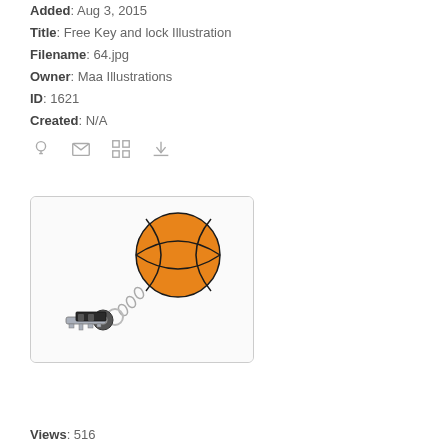Added: Aug 3, 2015
Title: Free Key and lock Illustration
Filename: 64.jpg
Owner: Maa Illustrations
ID: 1621
Created: N/A
[Figure (illustration): Illustration of a car key on a keychain attached to a basketball keyring fob]
Views: 516